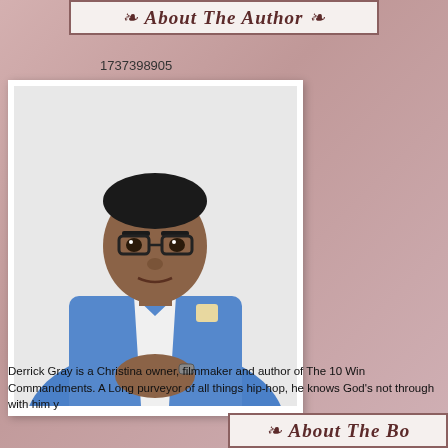About The Author
1737398905
[Figure (photo): Professional portrait photo of Derrick Gray, a Black man wearing glasses and a blue blazer with a white pocket square, hands clasped in front, against a white background.]
Derrick Gray is a Christian owner, filmmaker and author of The 10 Win Commandments. A Long purveyor of all things hip-hop, he knows God's not through with him y
About The Bo